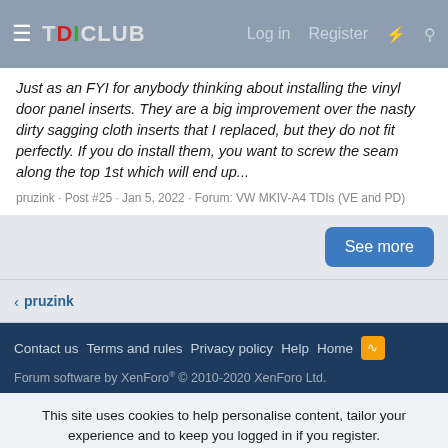TDICLUB — Log in  Register
Just as an FYI for anybody thinking about installing the vinyl door panel inserts. They are a big improvement over the nasty dirty sagging cloth inserts that I replaced, but they do not fit perfectly. If you do install them, you want to screw the seam along the top 1st which will end up...
pruzink · Post #25 · Jan 5, 2022 · Forum: VW MKIV-A4 TDIs (VE and PD)
See more
< pruzink
Contact us  Terms and rules  Privacy policy  Help  Home
Forum software by XenForo® © 2010-2020 XenForo Ltd.
This site uses cookies to help personalise content, tailor your experience and to keep you logged in if you register. By continuing to use this site, you are consenting to our use of cookies.
✓ Accept   Learn more...